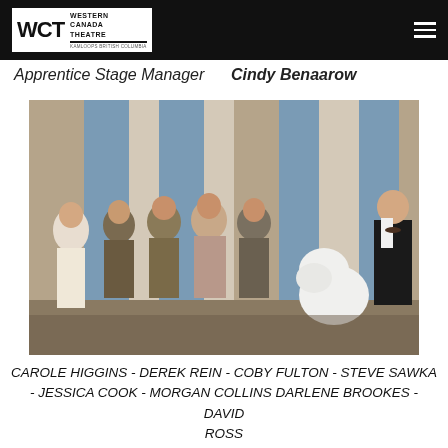WCT Western Canada Theatre
Apprentice Stage Manager     Cindy Benaarow
[Figure (photo): Theatre production photo showing seven cast members on stage in period costumes, with a large white fluffy dog costume character. The set features columns and curtains. Actors include a woman in a white dress on the left and a man in a black suit on the right.]
CAROLE HIGGINS - DEREK REIN - COBY FULTON - STEVE SAWKA - JESSICA COOK - MORGAN COLLINS DARLENE BROOKES - DAVID ROSS